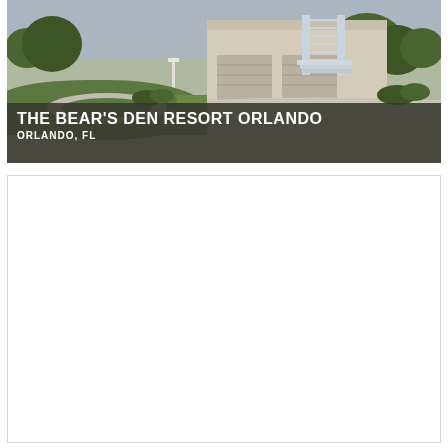[Figure (photo): Exterior photo of The Bear's Den Resort Orlando showing a building with white staircase railings, green lawn, driveway, and trees. Below the photo is a dark overlay banner with the resort name and location.]
THE BEAR'S DEN RESORT ORLANDO
ORLANDO, FL
[Figure (other): White empty content box with light gray border, likely a map or embedded content area that is blank/loading.]